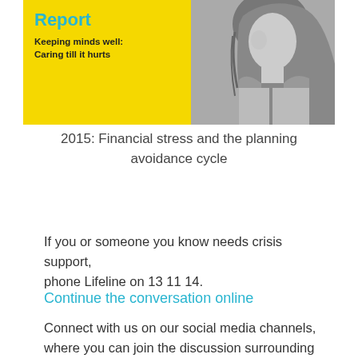[Figure (illustration): A report cover image split into two halves: left side is yellow with cyan bold text reading 'Report' and subtitle 'Keeping minds well: Caring till it hurts'; right side is a black-and-white photo of a woman.]
2015: Financial stress and the planning avoidance cycle
If you or someone you know needs crisis support, phone Lifeline on 13 11 14.
Continue the conversation online
Connect with us on our social media channels, where you can join the discussion surrounding homelessness and stay up-to-date with the latest